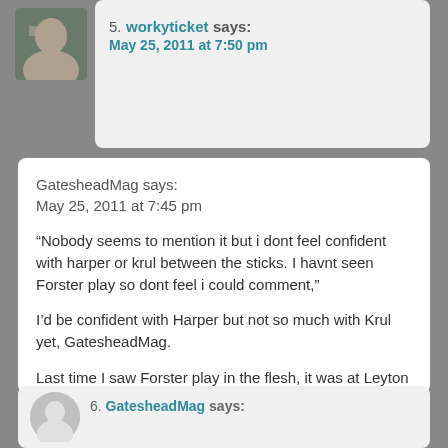5. workyticket says: May 25, 2011 at 7:50 pm
GatesheadMag says:
May 25, 2011 at 7:45 pm

“Nobody seems to mention it but i dont feel confident with harper or krul between the sticks. I havnt seen Forster play so dont feel i could comment,”

I’d be confident with Harper but not so much with Krul yet, GatesheadMag.

Last time I saw Forster play in the flesh, it was at Leyton Orient and he was on all fours fishing the ball out of the back of the net for most of his half. I wouldn’t judge him on that though.
6. GatesheadMag says: